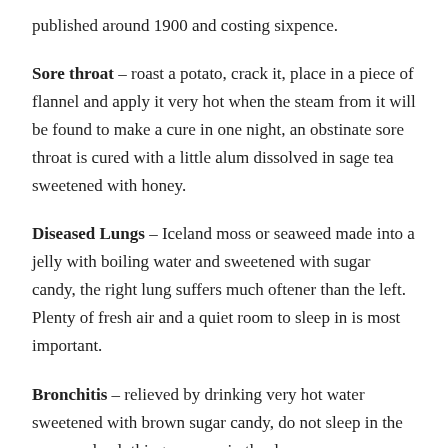published around 1900 and costing sixpence.
Sore throat – roast a potato, crack it, place in a piece of flannel and apply it very hot when the steam from it will be found to make a cure in one night, an obstinate sore throat is cured with a little alum dissolved in sage tea sweetened with honey.
Diseased Lungs – Iceland moss or seaweed made into a jelly with boiling water and sweetened with sugar candy, the right lung suffers much oftener than the left. Plenty of fresh air and a quiet room to sleep in is most important.
Bronchitis – relieved by drinking very hot water sweetened with brown sugar candy, do not sleep in the same underclothing as worn in the day.